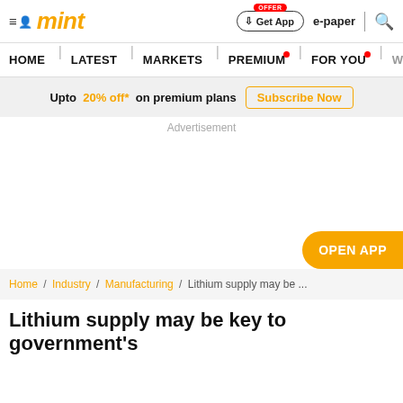mint | Get App | e-paper | (search)
HOME | LATEST | MARKETS | PREMIUM | FOR YOU | WA...
Upto 20% off* on premium plans Subscribe Now
Advertisement
OPEN APP
Home / Industry / Manufacturing / Lithium supply may be ...
Lithium supply may be key to government's